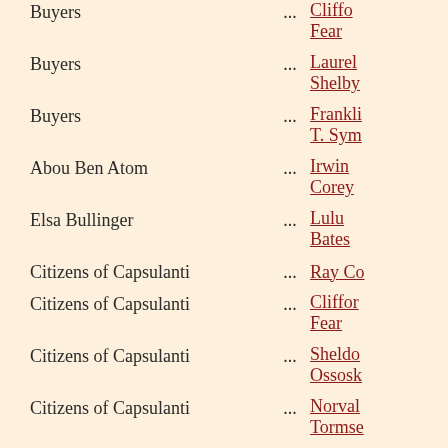Buyers ... Clifford Fear
Buyers ... Laurel Shelby
Buyers ... Franklin T. Sym
Abou Ben Atom ... Irwin Corey
Elsa Bullinger ... Lulu Bates
Citizens of Capsulanti ... Ray Co
Citizens of Capsulanti ... Clifford Fear
Citizens of Capsulanti ... Sheldo Ossosk
Citizens of Capsulanti ... Norval Tormse
Arabs ... Andrew Aprea
Arabs ... Stanley Carlson